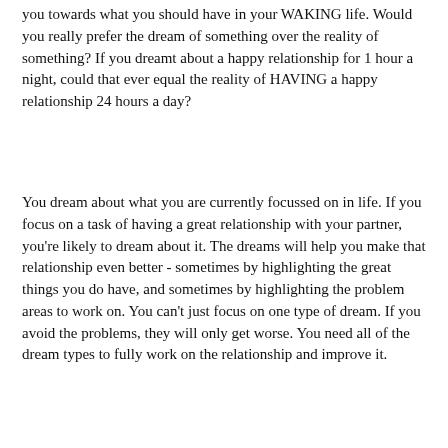you towards what you should have in your WAKING life. Would you really prefer the dream of something over the reality of something? If you dreamt about a happy relationship for 1 hour a night, could that ever equal the reality of HAVING a happy relationship 24 hours a day?
You dream about what you are currently focussed on in life. If you focus on a task of having a great relationship with your partner, you're likely to dream about it. The dreams will help you make that relationship even better - sometimes by highlighting the great things you do have, and sometimes by highlighting the problem areas to work on. You can't just focus on one type of dream. If you avoid the problems, they will only get worse. You need all of the dream types to fully work on the relationship and improve it.